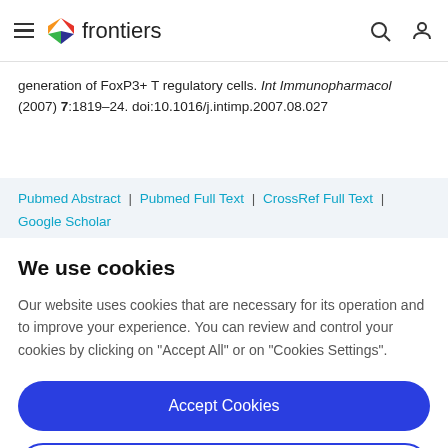frontiers
generation of FoxP3+ T regulatory cells. Int Immunopharmacol (2007) 7:1819–24. doi:10.1016/j.intimp.2007.08.027
Pubmed Abstract | Pubmed Full Text | CrossRef Full Text | Google Scholar
We use cookies
Our website uses cookies that are necessary for its operation and to improve your experience. You can review and control your cookies by clicking on "Accept All" or on "Cookies Settings".
Accept Cookies
Cookies Settings